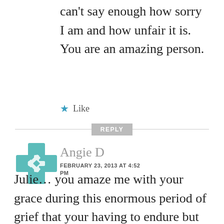can't say enough how sorry I am and how unfair it is. You are an amazing person.
★ Like
REPLY
[Figure (illustration): Teal/green geometric quilt-pattern avatar icon for user Angie D]
Angie D
FEBRUARY 23, 2013 AT 4:52 PM
Julie… you amaze me with your grace during this enormous period of grief that your having to endure but what stands out more than your grace is just